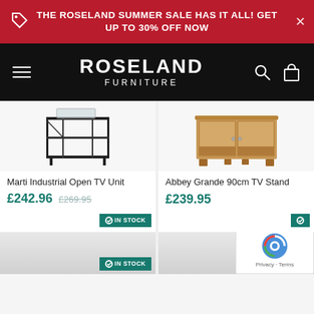THE ROSELAND SUMMER SALE HAS IT ALL! GET UP TO 30% OFF NOW
[Figure (logo): Roseland Furniture logo on black navigation bar]
[Figure (photo): Marti Industrial Open TV Unit - black metal frame furniture product photo]
Marti Industrial Open TV Unit
£242.96 £269.95
[Figure (photo): Abbey Grande 90cm TV Stand - oak wood cabinet furniture product photo]
Abbey Grande 90cm TV Stand
£239.95
[Figure (photo): Partial view of another furniture product with IN STOCK badge]
[Figure (photo): Partial view of another furniture product with IN STOCK badge (partially cut off)]